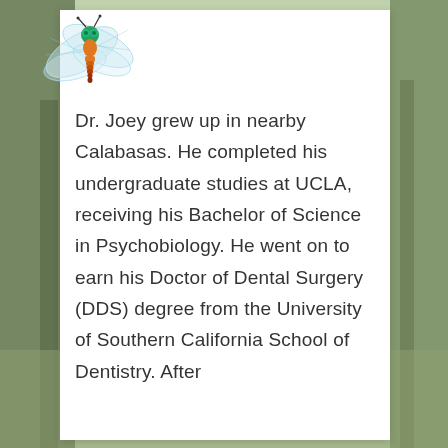[Figure (illustration): Decorative dragonfly illustration with teal and orange coloring, positioned in the top-left corner of the white card, overlapping the background nature scene.]
Dr. Joey grew up in nearby Calabasas. He completed his undergraduate studies at UCLA, receiving his Bachelor of Science in Psychobiology. He went on to earn his Doctor of Dental Surgery (DDS) degree from the University of Southern California School of Dentistry. After